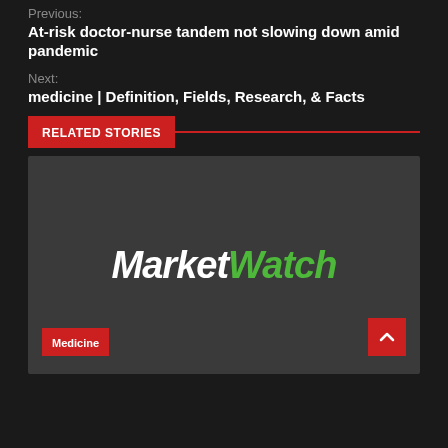Previous:
At-risk doctor-nurse tandem not slowing down amid pandemic
Next:
medicine | Definition, Fields, Research, & Facts
RELATED STORIES
[Figure (logo): MarketWatch logo on dark grey background with 'Market' in white italic bold and 'Watch' in green italic bold, with a Medicine category tag at bottom left and a red scroll-to-top button at bottom right]